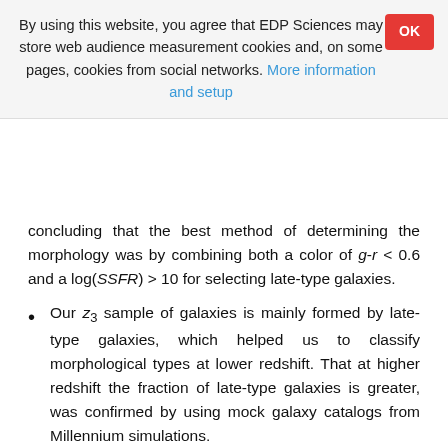By using this website, you agree that EDP Sciences may store web audience measurement cookies and, on some pages, cookies from social networks. More information and setup
concluding that the best method of determining the morphology was by combining both a color of g-r < 0.6 and a log(SSFR) > 10 for selecting late-type galaxies.
Our z3 sample of galaxies is mainly formed by late-type galaxies, which helped us to classify morphological types at lower redshift. That at higher redshift the fraction of late-type galaxies is greater, was confirmed by using mock galaxy catalogs from Millennium simulations.
At the higher redshift, we found a population with higher SFR and SSFR than the galaxies in the z0 sample. After classifying late and early-type galaxies in the z0 sample, we realized that the observed tail showing